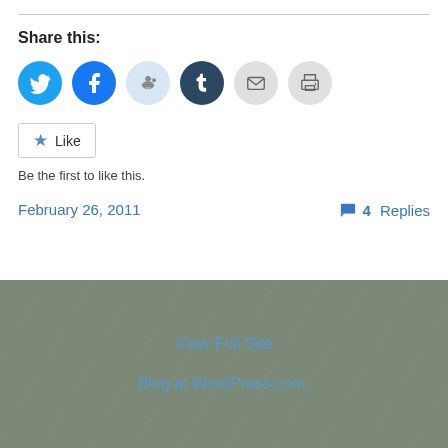Share this:
[Figure (infographic): Row of social sharing icon buttons: Twitter (blue), Facebook (blue), Reddit (light blue), Tumblr (dark blue), Email (grey), Print (grey)]
Like
Be the first to like this.
February 26, 2011
4 Replies
View Full Site
Blog at WordPress.com.